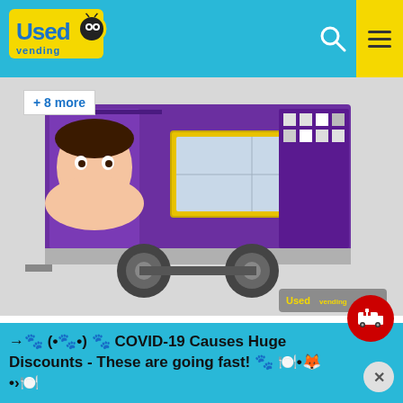[Figure (screenshot): Used Vending website header with teal/cyan background, yellow logo text reading 'Used Vending', search icon, and yellow hamburger menu button]
[Figure (photo): Purple food concession trailer with wrap graphics, dual axle wheels, service window, shown from side angle. UsedVending.com watermark in lower right.]
+ 8 more
approx 115 miles away
$41,800
Lightly Used 8' x 18' Mobile Kitchen Food Concession Trailer for Sale in Texas!
Item No: TX-P-258O2
Serve tasty food and uplift your customers' mood with this 8' x 18' mobile kitchen concession trailer! See more details below.
in Texas.
→ 🐾 (•🐾•) 🐾 COVID-19 Causes Huge Discounts - These are going fast! 🐾 🍽️•🦊•›🍽️